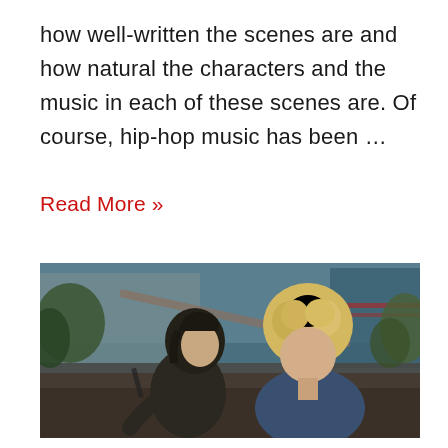how well-written the scenes are and how natural the characters and the music in each of these scenes are. Of course, hip-hop music has been …
Read More »
[Figure (photo): Two young people sitting outdoors. On the left, a person with dark hair wearing a dark jacket leans toward the other person. On the right, a person with curly blond hair wearing a blue t-shirt. Background shows a yard with structures and greenery, with a teal/bluish tint to the scene.]